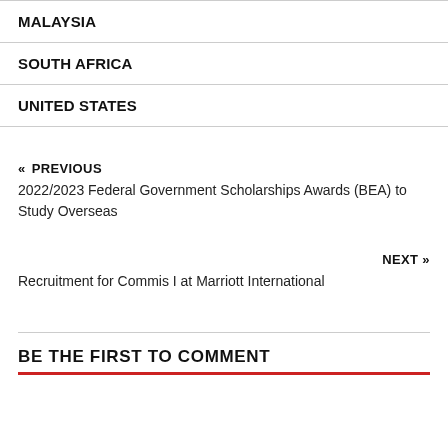MALAYSIA
SOUTH AFRICA
UNITED STATES
« PREVIOUS
2022/2023 Federal Government Scholarships Awards (BEA) to Study Overseas
NEXT »
Recruitment for Commis I at Marriott International
BE THE FIRST TO COMMENT